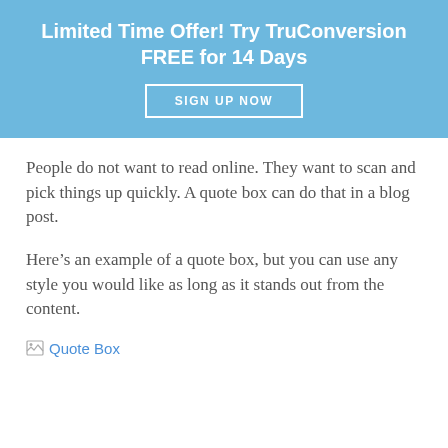Limited Time Offer! Try TruConversion FREE for 14 Days
[Figure (other): SIGN UP NOW button with white border on blue background]
People do not want to read online. They want to scan and pick things up quickly. A quote box can do that in a blog post.
Here’s an example of a quote box, but you can use any style you would like as long as it stands out from the content.
[Figure (other): Broken image placeholder with alt text 'Quote Box']